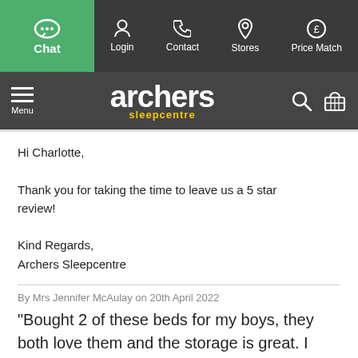Chat | Login | Contact | Stores | Price Match
[Figure (logo): Archers Sleepcentre logo with menu, search and basket icons]
Hi Charlotte,

Thank you for taking the time to leave us a 5 star review!

Kind Regards,
Archers Sleepcentre
By Mrs Jennifer McAulay on 20th April 2022
"Bought 2 of these beds for my boys, they both love them and the storage is great. I love the colour of grey! They were reasonably ok to build aswell!"